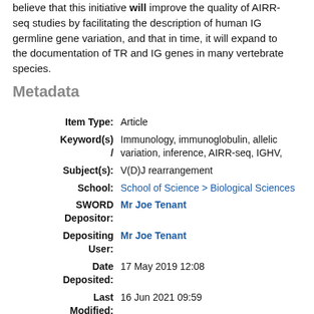believe that this initiative will improve the quality of AIRR-seq studies by facilitating the description of human IG germline gene variation, and that in time, it will expand to the documentation of TR and IG genes in many vertebrate species.
Metadata
| Field | Value |
| --- | --- |
| Item Type: | Article |
| Keyword(s) / | Immunology, immunoglobulin, allelic variation, inference, AIRR-seq, IGHV, |
| Subject(s): | V(D)J rearrangement |
| School: | School of Science > Biological Sciences |
| SWORD Depositor: | Mr Joe Tenant |
| Depositing User: | Mr Joe Tenant |
| Date Deposited: | 17 May 2019 12:08 |
| Last Modified: | 16 Jun 2021 09:59 |